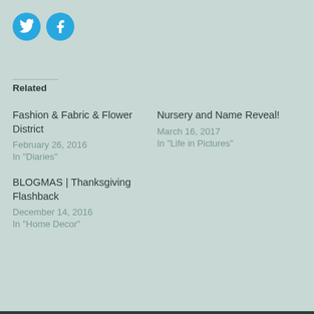[Figure (logo): Two circular social media share buttons: Twitter (bird icon) and Facebook (f icon), both in blue on teal background]
Related
Fashion & Fabric & Flower District
February 26, 2016
In "Diaries"
Nursery and Name Reveal!
March 16, 2017
In "Life in Pictures"
BLOGMAS | Thanksgiving Flashback
December 14, 2016
In "Home Decor"